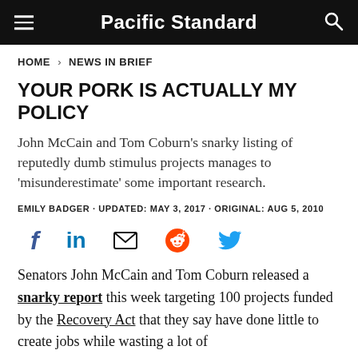Pacific Standard
HOME > NEWS IN BRIEF
YOUR PORK IS ACTUALLY MY POLICY
John McCain and Tom Coburn's snarky listing of reputedly dumb stimulus projects manages to 'misunderestimate' some important research.
EMILY BADGER · UPDATED: MAY 3, 2017 · ORIGINAL: AUG 5, 2010
[Figure (other): Social sharing icons: Facebook, LinkedIn, Email, Reddit, Twitter]
Senators John McCain and Tom Coburn released a snarky report this week targeting 100 projects funded by the Recovery Act that they say have done little to create jobs while wasting a lot of federal...